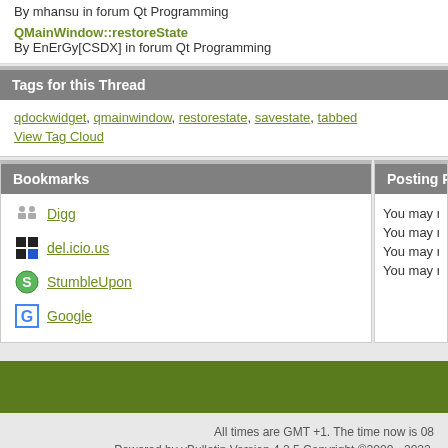By mhansu in forum Qt Programming
QMainWindow::restoreState
By EnErGy[CSDX] in forum Qt Programming
Tags for this Thread
qdockwidget, qmainwindow, restorestate, savestate, tabbed
View Tag Cloud
Bookmarks
Digg
del.icio.us
StumbleUpon
Google
Posting Perm
You may not po
You may not po
You may not po
You may not ed
All times are GMT +1. The time now is 08
Powered by vBulletin Version 4.2.5 Copyright ©2000 - 2022,
© 2006–2017 Qt Centre - The Ultimate Qt Com
Digia, Qt and their respective logos are trademarks of Digia Plc in Finland and/or othe